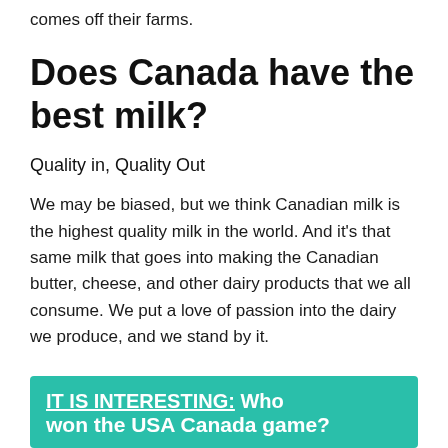comes off their farms.
Does Canada have the best milk?
Quality in, Quality Out
We may be biased, but we think Canadian milk is the highest quality milk in the world. And it's that same milk that goes into making the Canadian butter, cheese, and other dairy products that we all consume. We put a love of passion into the dairy we produce, and we stand by it.
IT IS INTERESTING:  Who won the USA Canada game?